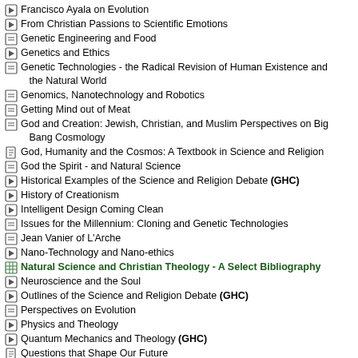Francisco Ayala on Evolution
From Christian Passions to Scientific Emotions
Genetic Engineering and Food
Genetics and Ethics
Genetic Technologies - the Radical Revision of Human Existence and the Natural World
Genomics, Nanotechnology and Robotics
Getting Mind out of Meat
God and Creation: Jewish, Christian, and Muslim Perspectives on Big Bang Cosmology
God, Humanity and the Cosmos: A Textbook in Science and Religion
God the Spirit - and Natural Science
Historical Examples of the Science and Religion Debate (GHC)
History of Creationism
Intelligent Design Coming Clean
Issues for the Millennium: Cloning and Genetic Technologies
Jean Vanier of L'Arche
Nano-Technology and Nano-ethics
Natural Science and Christian Theology - A Select Bibliography
Neuroscience and the Soul
Outlines of the Science and Religion Debate (GHC)
Perspectives on Evolution
Physics and Theology
Quantum Mechanics and Theology (GHC)
Questions that Shape Our Future
Reductionism (GHC)
Reintroducing Teleology Into Science
Science and Suffering
Scientific Perspectives on Divine Action (CTNS)/Vatican Series (partial)